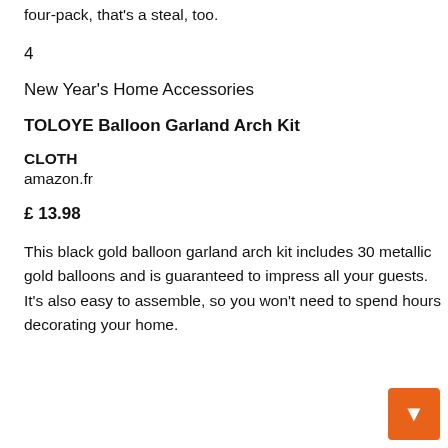four-pack, that's a steal, too.
4
New Year's Home Accessories
TOLOYE Balloon Garland Arch Kit
CLOTH
amazon.fr
£ 13.98
This black gold balloon garland arch kit includes 30 metallic gold balloons and is guaranteed to impress all your guests. It's also easy to assemble, so you won't need to spend hours decorating your home.